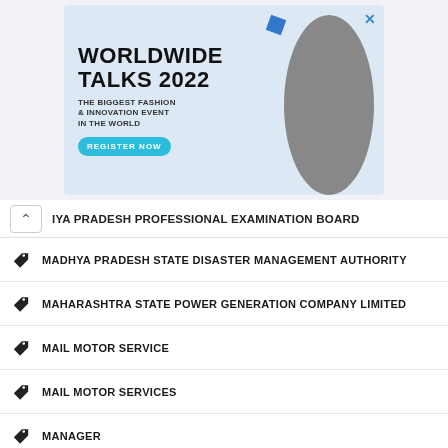[Figure (screenshot): Advertisement banner for Worldwide Talks 2022 - The Biggest Fashion & Innovation Event in The World with Register Now button]
IYA PRADESH PROFESSIONAL EXAMINATION BOARD
MADHYA PRADESH STATE DISASTER MANAGEMENT AUTHORITY
MAHARASHTRA STATE POWER GENERATION COMPANY LIMITED
MAIL MOTOR SERVICE
MAIL MOTOR SERVICES
MANAGER
MANIPUR STATE COOPERATIVE BANK LIMITED
MANPOWER
MAZAGON DOCK SHIPBUILDERS LIMITED
MBA